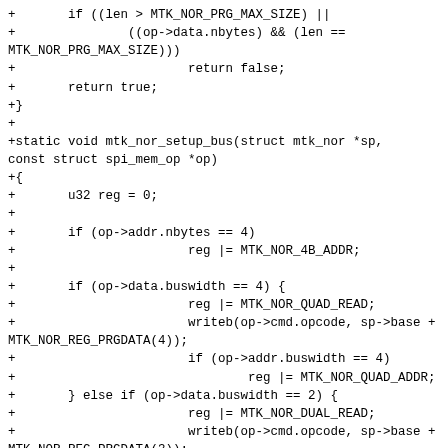[Figure (other): Source code diff showing C code for MTK NOR flash driver, including mtk_nor_setup_bus function implementation with bus width handling for quad, dual, and single SPI modes.]